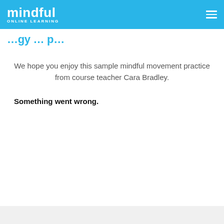mindful ONLINE LEARNING
…gy … p…
We hope you enjoy this sample mindful movement practice from course teacher Cara Bradley.
Something went wrong.